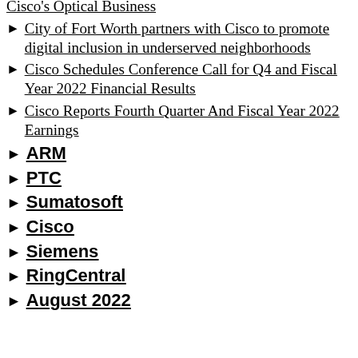Cisco's Optical Business
City of Fort Worth partners with Cisco to promote digital inclusion in underserved neighborhoods
Cisco Schedules Conference Call for Q4 and Fiscal Year 2022 Financial Results
Cisco Reports Fourth Quarter And Fiscal Year 2022 Earnings
ARM
PTC
Sumatosoft
Cisco
Siemens
RingCentral
August 2022